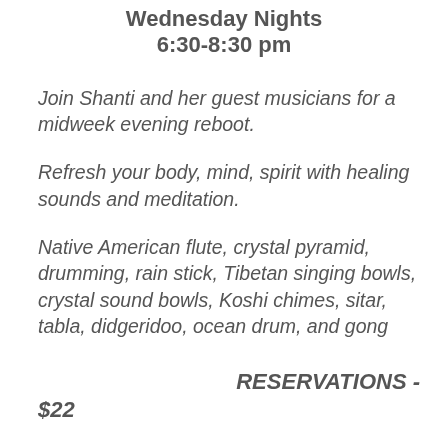Wednesday Nights
6:30-8:30 pm
Join Shanti and her guest musicians for a midweek evening reboot.
Refresh your body, mind, spirit with healing sounds and meditation.
Native American flute, crystal pyramid, drumming, rain stick, Tibetan singing bowls, crystal sound bowls, Koshi chimes, sitar, tabla, didgeridoo, ocean drum, and gong
RESERVATIONS -
$22